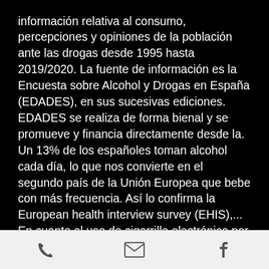información relativa al consumo, percepciones y opiniones de la población ante las drogas desde 1995 hasta 2019/2020. La fuente de información es la Encuesta sobre Alcohol y Drogas en España (EDADES), en sus sucesivas ediciones. EDADES se realiza de forma bienal y se promueve y financia directamente desde la. Un 13% de los españoles toman alcohol cada día, lo que nos convierte en el segundo país de la Unión Europea que bebe con más frecuencia. Así lo confirma la European health interview survey (EHIS),... En cuanto al uso de cigarrillo electrónico por comunidades, en Andalucía, Cataluña, Castilla-La Mancha y Madrid se aprecia un mayor porcentaje de jóvenes que han fumado a. Los catalanes, por su parte, destinaron un total de 201,73 millones al
[phone] [email] [facebook]